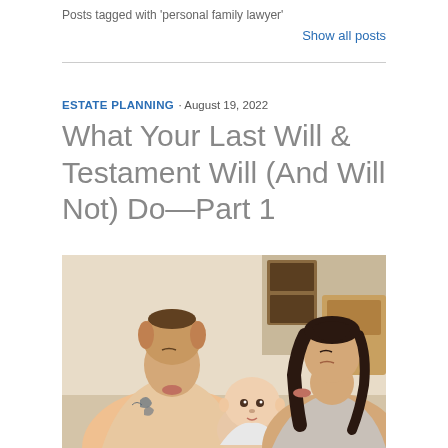Posts tagged with 'personal family lawyer'
Show all posts
ESTATE PLANNING · August 19, 2022
What Your Last Will & Testament Will (And Will Not) Do—Part 1
[Figure (photo): A young couple with tattoos leaning in to kiss a baby on either side, sitting together in a warmly lit home interior.]